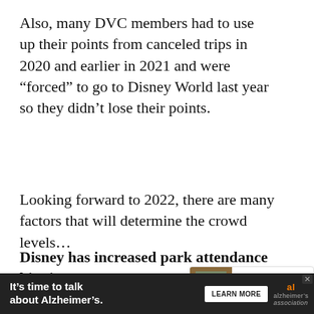Also, many DVC members had to use up their points from canceled trips in 2020 and earlier in 2021 and were “forced” to go to Disney World last year so they didn’t lose their points.
Looking forward to 2022, there are many factors that will determine the crowd levels…
Disney has increased park attendance big time this year to well over 35% (the last actual number they have reported). …, guests still have to use Disney’s new Park …
[Figure (screenshot): Orange heart/like button UI overlay with count 3.2K and share button, plus a 'What's Next' card showing 'Best Time to Visit Disney...']
[Figure (screenshot): Advertisement banner: 'It's time to talk about Alzheimer's.' with LEARN MORE button and Alzheimer's Association logo]